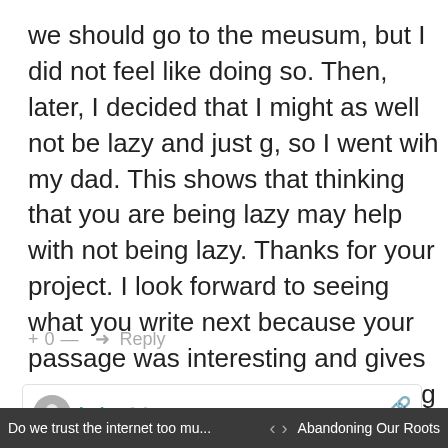we should go to the meusum, but I did not feel like doing so. Then, later, I decided that I might as well not be lazy and just g, so I went wih my dad. This shows that thinking that you are being lazy may help with not being lazy. Thanks for your project. I look forward to seeing what you write next because your passage was interesting and gives people a new perspective of seeing things.
+ 0 — → Reply
Luis  February 7, 2018 11:54 pm
Do we trust the internet too mu... < > Abandoning Our Roots